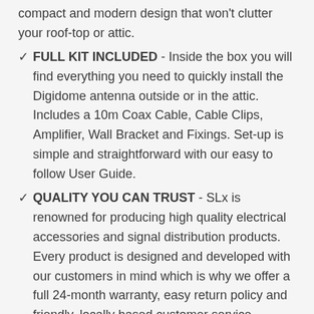compact and modern design that won't clutter your roof-top or attic.
✓ FULL KIT INCLUDED - Inside the box you will find everything you need to quickly install the Digidome antenna outside or in the attic. Includes a 10m Coax Cable, Cable Clips, Amplifier, Wall Bracket and Fixings. Set-up is simple and straightforward with our easy to follow User Guide.
✓ QUALITY YOU CAN TRUST - SLx is renowned for producing high quality electrical accessories and signal distribution products. Every product is designed and developed with our customers in mind which is why we offer a full 24-month warranty, easy return policy and friendly, locally based customer service.